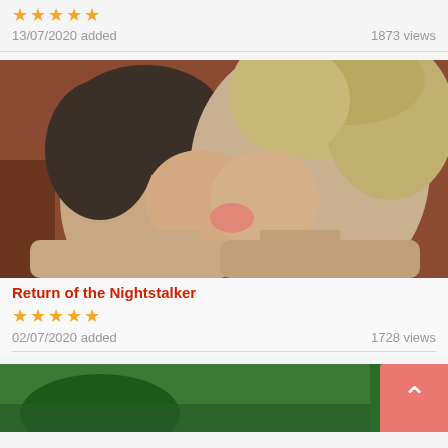13/07/2020 added    1873 views
[Figure (photo): Two people kissing, close-up, warm reddish-brown background]
Return of the Nighttstalker
02/07/2020 added    1728 views
[Figure (photo): Green-toned image, partially visible at bottom of page]